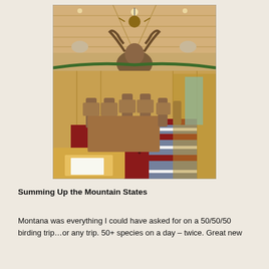[Figure (photo): Interior of a rustic lodge-style restaurant with wooden walls, taxidermy animal mounts on the walls and ceiling (including a large moose head), rustic log chairs and wooden tables, patterned southwestern rugs on the floor, and a long dining room visible in the background.]
Summing Up the Mountain States
Montana was everything I could have asked for on a 50/50/50 birding trip…or any trip. 50+ species on a day – twice. Great new